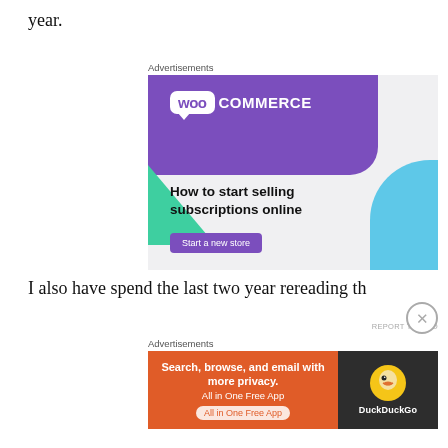year.
[Figure (other): WooCommerce advertisement: 'How to start selling subscriptions online' with a 'Start a new store' button. Purple and green geometric shapes with blue accent on the right.]
I also have spend the last two year rereading th
[Figure (other): DuckDuckGo advertisement: 'Search, browse, and email with more privacy. All in One Free App' on orange background with DuckDuckGo logo on dark background.]